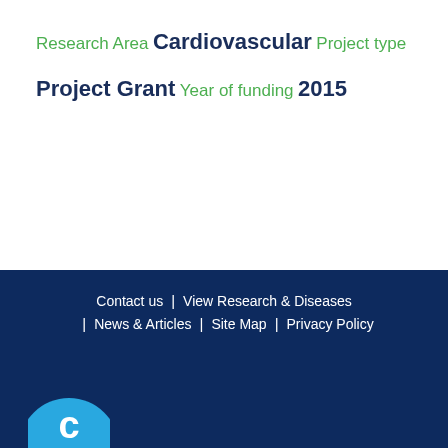Research Area
Cardiovascular
Project type
Project Grant
Year of funding
2015
Contact us | View Research & Diseases | News & Articles | Site Map | Privacy Policy